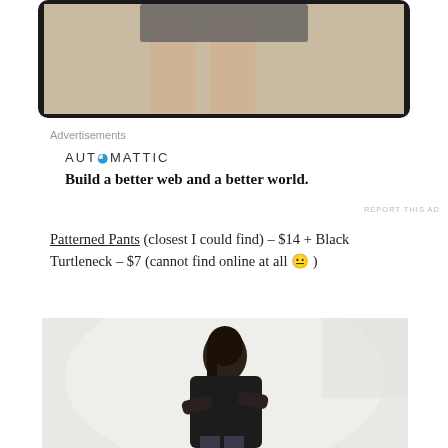[Figure (photo): Top portion of a tablet/screen showing a person's legs in patterned pants against a beige wall background]
Advertisements
[Figure (logo): Automattic logo with blue @ symbol]
Build a better web and a better world.
REPORT THIS AD
Patterned Pants (closest I could find) – $14 + Black Turtleneck – $7 (cannot find online at all 😐 )
[Figure (photo): Woman with long dark hair in a black turtleneck and patterned pants, standing with arms crossed, photographed from behind/side against a light background]